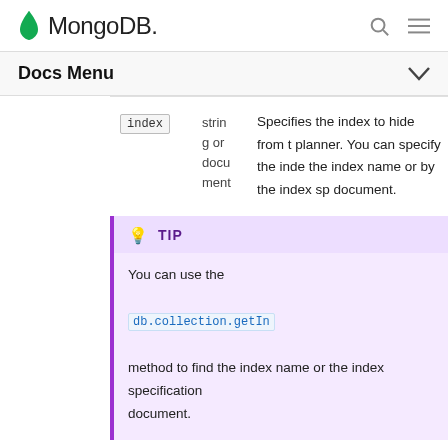MongoDB
Docs Menu
| Field | Type | Description |
| --- | --- | --- |
| index | string or document | Specifies the index to hide from the planner. You can specify the index by the index name or by the index specification document. |
TIP
You can use the db.collection.getIndexes() method to find the index name or the index specification document.